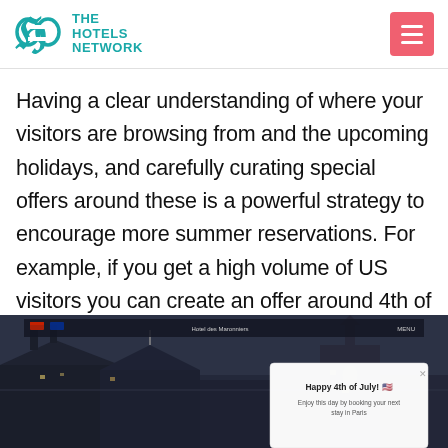THE HOTELS NETWORK
Having a clear understanding of where your visitors are browsing from and the upcoming holidays, and carefully curating special offers around these is a powerful strategy to encourage more summer reservations. For example, if you get a high volume of US visitors you can create an offer around 4th of July.
[Figure (screenshot): Screenshot of a hotel website with a Parisian rooftop/cityscape background at dusk. A white popup overlay reads 'Happy 4th of July!' with body text 'Enjoy this day by booking your next stay in Paris'.]